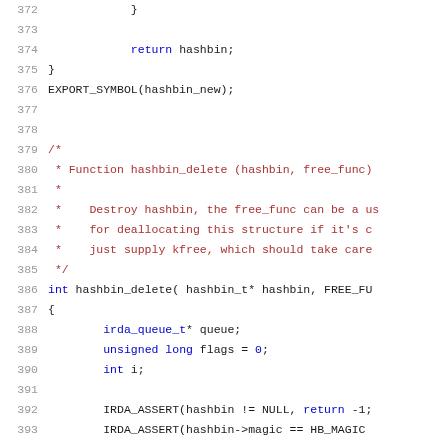[Figure (screenshot): C source code listing showing lines 372–393 of a hash bin implementation. Includes closing brace, return statement, EXPORT_SYMBOL macro, and the beginning of hashbin_delete function with a block comment and variable declarations.]